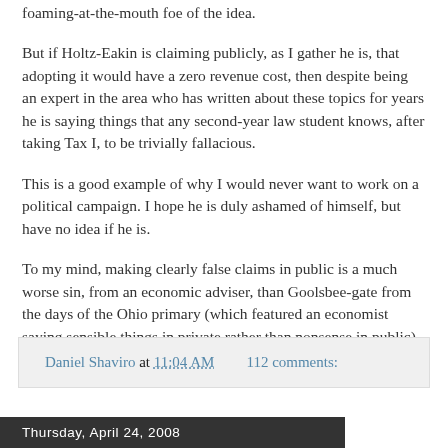foaming-at-the-mouth foe of the idea.
But if Holtz-Eakin is claiming publicly, as I gather he is, that adopting it would have a zero revenue cost, then despite being an expert in the area who has written about these topics for years he is saying things that any second-year law student knows, after taking Tax I, to be trivially fallacious.
This is a good example of why I would never want to work on a political campaign. I hope he is duly ashamed of himself, but have no idea if he is.
To my mind, making clearly false claims in public is a much worse sin, from an economic adviser, than Goolsbee-gate from the days of the Ohio primary (which featured an economist saying sensible things in private rather than nonsense in public).
Daniel Shaviro at 11:04 AM   112 comments:
Thursday, April 24, 2008